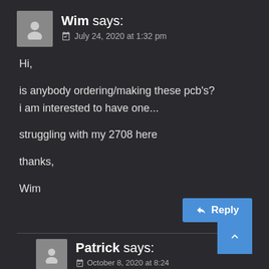Wim says: July 24, 2020 at 1:32 pm
Hi,

is anybody ordering/making these pcb's?
i am interested to have one...

struggling with my 2708 here

thanks,

Wim
Reply
Patrick says: October 8, 2020 at 8:24